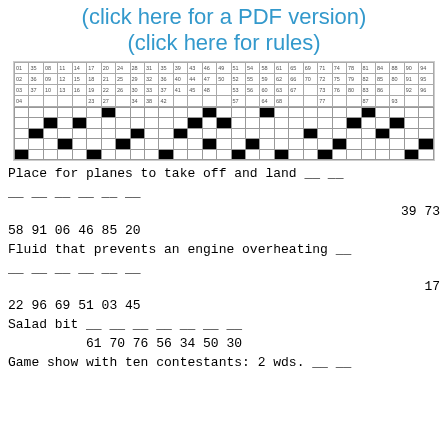(click here for a PDF version)
(click here for rules)
[Figure (other): Cryptogram puzzle with a number grid header and a crossword-style black-and-white letter grid below it.]
Place for planes to take off and land __ __
__ __ __ __ __ __
                                    39 73
58 91 06 46 85 20
Fluid that prevents an engine overheating __
__ __ __ __ __ __
                                          17
22 96 69 51 03 45
Salad bit __ __ __ __ __ __ __
          61 70 76 56 34 50 30
Game show with ten contestants: 2 wds. __ __